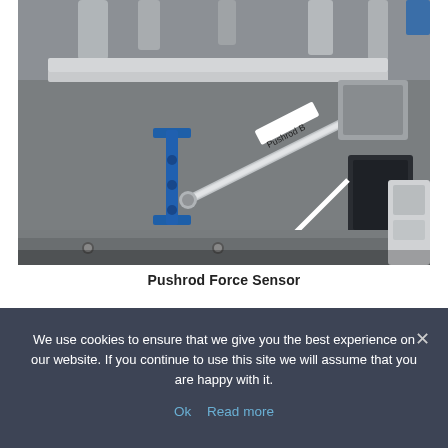[Figure (photo): Close-up photograph of a mechanical test rig showing a pushrod labeled 'Pushrod B'. The pushrod is a silvery metal rod with threaded ends connected to blue anodized aluminum brackets and other metallic components. Black electrical cables and white tubing are also visible. The setup appears to be a force/load sensor measurement apparatus.]
Pushrod Force Sensor
We use cookies to ensure that we give you the best experience on our website. If you continue to use this site we will assume that you are happy with it.
Ok   Read more